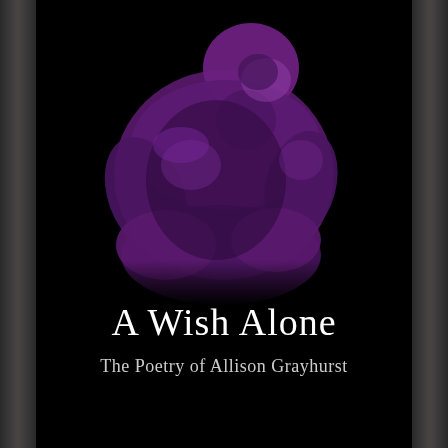[Figure (illustration): A purple-tinted sculpture of a hunched, curled figure (appears to be a classical statue) on a black background, occupying the upper portion of the book cover.]
A Wish Alone
The Poetry of Allison Grayhurst